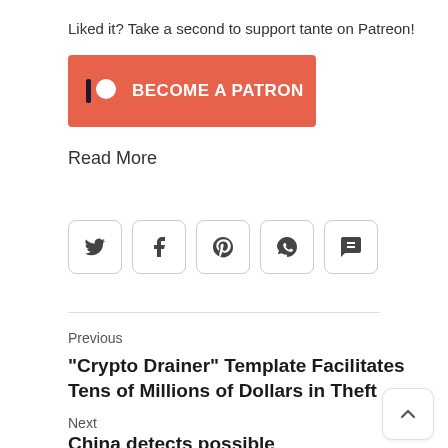Liked it? Take a second to support tante on Patreon!
[Figure (logo): Patreon button: orange rectangle with Patreon logo icon and text BECOME A PATRON in white bold letters]
Read More
[Figure (infographic): Row of five social sharing icon buttons: Twitter, Facebook, Pinterest, WhatsApp, Chat]
Previous
“Crypto Drainer” Template Facilitates Tens of Millions of Dollars in Theft
Next
China detects possible ‘extraterrestrial